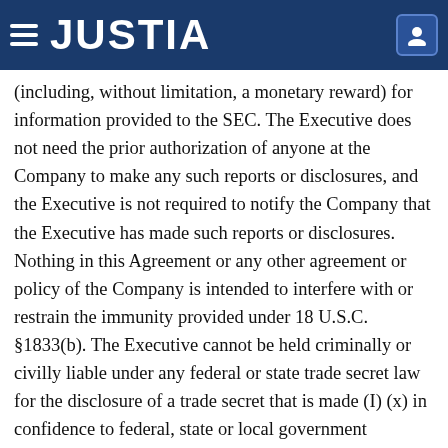JUSTIA
(including, without limitation, a monetary reward) for information provided to the SEC. The Executive does not need the prior authorization of anyone at the Company to make any such reports or disclosures, and the Executive is not required to notify the Company that the Executive has made such reports or disclosures. Nothing in this Agreement or any other agreement or policy of the Company is intended to interfere with or restrain the immunity provided under 18 U.S.C. §1833(b). The Executive cannot be held criminally or civilly liable under any federal or state trade secret law for the disclosure of a trade secret that is made (I) (x) in confidence to federal, state or local government officials, directly or indirectly, or to an attorney, and (y) for the purpose of reporting or investigating a suspected violation of law; (II) in a complaint or other document filed in a lawsuit or other proceeding, if filed